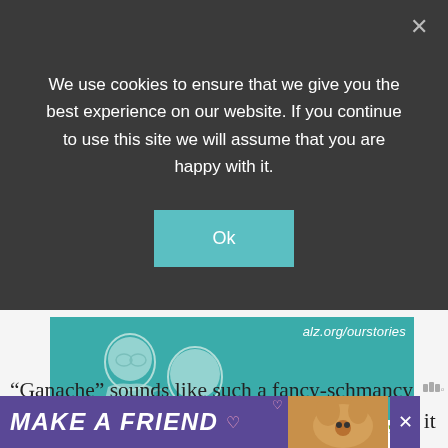We use cookies to ensure that we give you the best experience on our website. If you continue to use this site we will assume that you are happy with it.
[Figure (illustration): Cookie consent overlay with teal 'Ok' button on dark background, with close X in top right]
[Figure (illustration): Alzheimer's Association advertisement banner with teal background, two illustrated people, alz.org/ourstories URL, and Alzheimer's Association logo badge]
“Ganache” sounds like such a fancy-schmancy word .. one of those words where it’s fun to say it
[Figure (illustration): MAKE A FRIEND purple/violet advertisement banner with dog image at bottom of page]